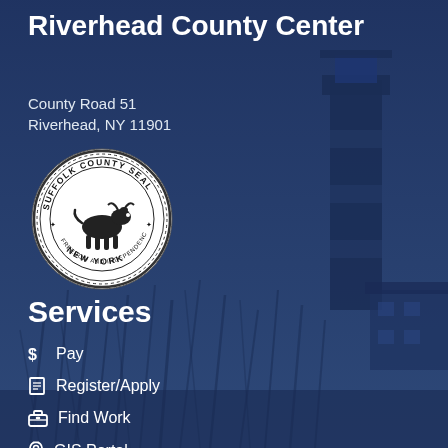Riverhead County Center
County Road 51
Riverhead, NY 11901
[Figure (logo): Suffolk County Seal — circular seal with bull/ox in center, text reading SUFFOLK COUNTY SEAL, FREEDOM AND INDEPENDENCE, NEW YORK]
Services
$ Pay
Register/Apply
Find Work
GIS Portal